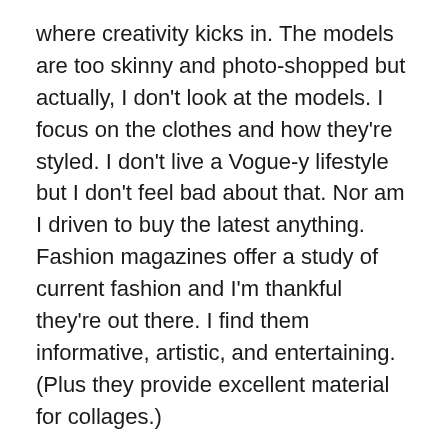where creativity kicks in. The models are too skinny and photo-shopped but actually, I don't look at the models. I focus on the clothes and how they're styled. I don't live a Vogue-y lifestyle but I don't feel bad about that. Nor am I driven to buy the latest anything. Fashion magazines offer a study of current fashion and I'm thankful they're out there. I find them informative, artistic, and entertaining. (Plus they provide excellent material for collages.)
I think it's important for readers to keep these magazines in perspective. What's portrayed is not real. It's fantasy. Most people cannot afford the clothes and the even the models don't look like "the models." Let's not take it too seriously or personally.
Having said that, I also must say that I am fully aware that the fashion industry is not a nice place. It's a corporate-